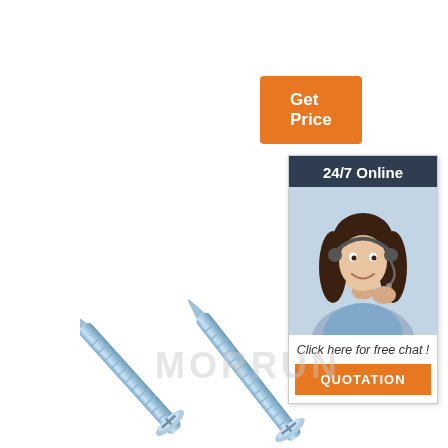Get Price
24/7 Online
[Figure (photo): Smiling woman with headset/headphone, customer service representative]
Click here for free chat !
QUOTATION
[Figure (photo): Two zinc-plated Phillips flat head self-tapping screws, crossed arrangement, light blue metallic finish]
MORRUN